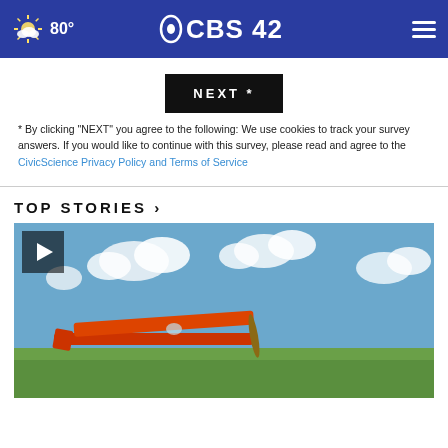CBS42 | 80° weather
NEXT *
* By clicking "NEXT" you agree to the following: We use cookies to track your survey answers. If you would like to continue with this survey, please read and agree to the CivicScience Privacy Policy and Terms of Service
TOP STORIES ›
[Figure (photo): Video thumbnail showing a small red airplane on a green field under a partly cloudy blue sky, with a play button overlay in the top left corner.]